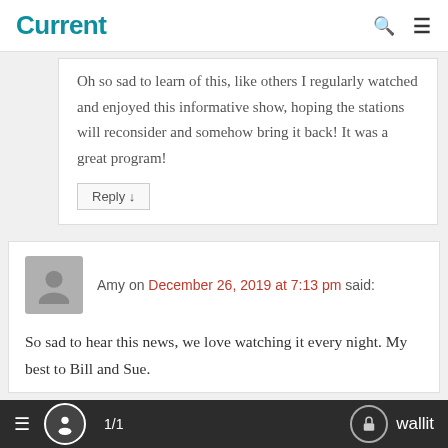Current
Oh so sad to learn of this, like others I regularly watched and enjoyed this informative show, hoping the stations will reconsider and somehow bring it back! It was a great program!
Amy on December 26, 2019 at 7:13 pm said:
So sad to hear this news, we love watching it every night. My best to Bill and Sue.
≡  1/1  wallit